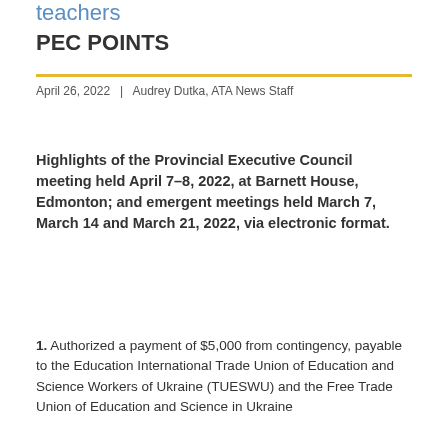teachers
PEC POINTS
April 26, 2022  |  Audrey Dutka, ATA News Staff
Highlights of the Provincial Executive Council meeting held April 7–8, 2022, at Barnett House, Edmonton; and emergent meetings held March 7, March 14 and March 21, 2022, via electronic format.
1. Authorized a payment of $5,000 from contingency, payable to the Education International Trade Union of Education and Science Workers of Ukraine (TUESWU) and the Free Trade Union of Education and Science in Ukraine